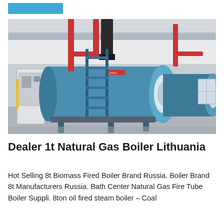[Figure (photo): Industrial boiler room with large horizontal blue cylindrical steam boilers, red and silver overhead pipes, blue metal support structures, yellow equipment cabinet on the left, inside a white-walled industrial facility.]
Dealer 1t Natural Gas Boiler Lithuania
Hot Selling 8t Biomass Fired Boiler Brand Russia. Boiler Brand 8t Manufacturers Russia. Bath Center Natural Gas Fire Tube Boiler Suppli. 8ton oil fired steam boiler – Coal